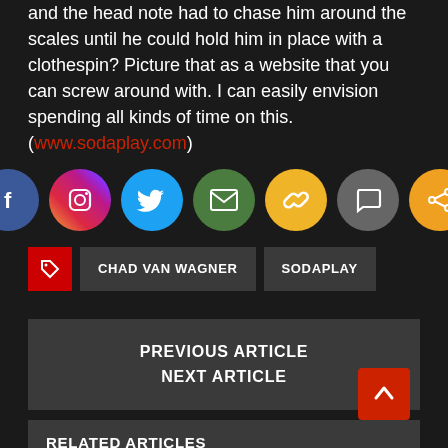and the head note had to chase him around the scales until he could hold him in place with a clothespin? Picture that as a website that you can screw around with. I can easily envision spending all kinds of time on this.
(www.sodaplay.com)
[Figure (other): Row of social media share icons: Facebook (blue circle), Instagram (gradient circle), Twitter (blue circle), Email (green circle), Link (yellow circle), Comment (gray circle), Share (orange circle)]
CHAD VAN WAGNER
SODAPLAY
PREVIOUS ARTICLE
NEXT ARTICLE
RELATED ARTICLES